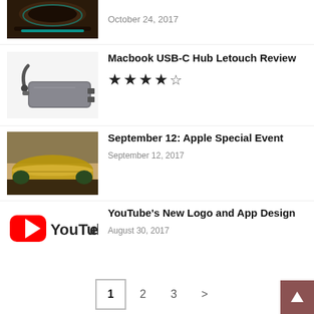[Figure (photo): Partial thumbnail of a dark wood diffuser device with teal LED ring, cropped at top]
October 24, 2017
Macbook USB-C Hub Letouch Review
[Figure (photo): USB-C hub adapter, gray metallic, with cable]
★★★★½ (4.5 stars)
September 12: Apple Special Event
[Figure (photo): Apple Park building exterior at dusk, circular glass building]
September 12, 2017
YouTube's New Logo and App Design
[Figure (logo): YouTube logo: red play button icon and YouTube wordmark]
August 30, 2017
1  2  3  >